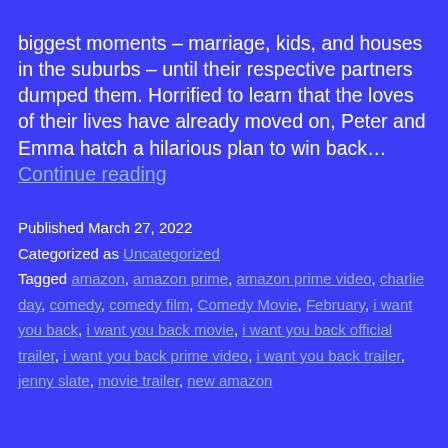biggest moments – marriage, kids, and houses in the suburbs – until their respective partners dumped them. Horrified to learn that the loves of their lives have already moved on, Peter and Emma hatch a hilarious plan to win back… Continue reading
Published March 27, 2022
Categorized as Uncategorized
Tagged amazon, amazon prime, amazon prime video, charlie day, comedy, comedy film, Comedy Movie, February, i want you back, i want you back movie, i want you back official trailer, i want you back prime video, i want you back trailer, jenny slate, movie trailer, new amazon